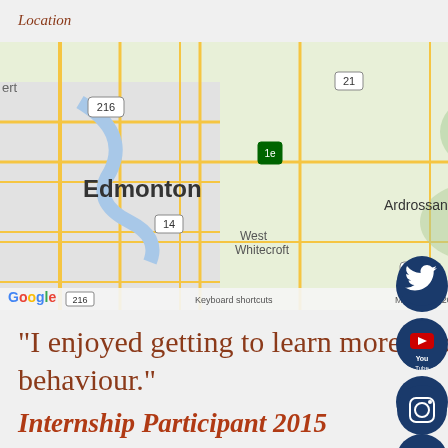Location
[Figure (map): Google Map showing the area around Edmonton, Alberta, Canada. A location pin is placed near Elk Island National Park. Visible labels include Edmonton, West Whitecroft, Ardrossan, Uncas, Elk Island National Park, Hillia (partially visible), Lake Herta (partially visible), and route numbers 216, 21, 830, 14, 834, 824. Map data ©2022 Google. Keyboard shortcuts | Terms visible at bottom.]
“I enjoyed getting to learn more about animal communication and behaviour.”
Internship Participant 2015